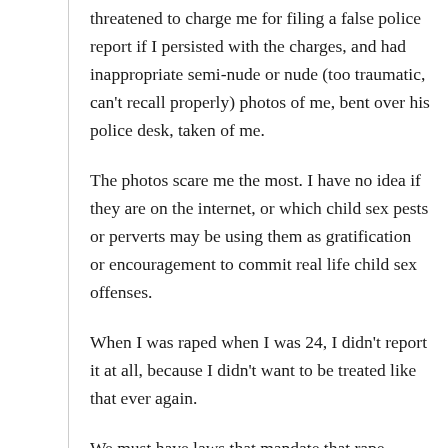threatened to charge me for filing a false police report if I persisted with the charges, and had inappropriate semi-nude or nude (too traumatic, can’t recall properly) photos of me, bent over his police desk, taken of me.
The photos scare me the most. I have no idea if they are on the internet, or which child sex pests or perverts may be using them as gratification or encouragement to commit real life child sex offenses.
When I was raped when I was 24, I didn’t report it at all, because I didn’t want to be treated like that ever again.
We must have laws that mandate that rape victims